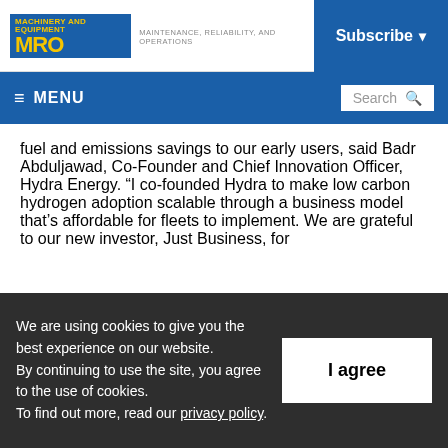MRO MAINTENANCE, RELIABILITY, AND OPERATIONS | Subscribe
≡ MENU | Search
fuel and emissions savings to our early users, said Badr Abduljawad, Co-Founder and Chief Innovation Officer, Hydra Energy. “I co-founded Hydra to make low carbon hydrogen adoption scalable through a business model that’s affordable for fleets to implement. We are grateful to our new investor, Just Business, for
We are using cookies to give you the best experience on our website.
By continuing to use the site, you agree to the use of cookies.
To find out more, read our privacy policy.